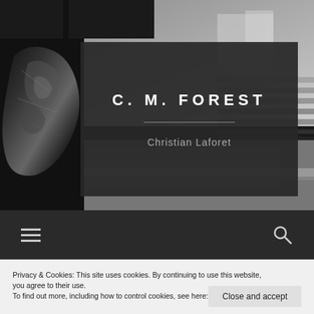[Figure (photo): Black and white outdoor photograph showing a crumpled metallic/plastic bag or debris on the left, with a suburban street, lawn, and buildings visible in the background. Grayscale tones throughout.]
C. M. FOREST
Christian Laforet
[Figure (other): Dark navigation bar with hamburger menu icon on the left and a search (magnifying glass) icon on the right]
Privacy & Cookies: This site uses cookies. By continuing to use this website, you agree to their use.
To find out more, including how to control cookies, see here: Cookie Policy
Close and accept